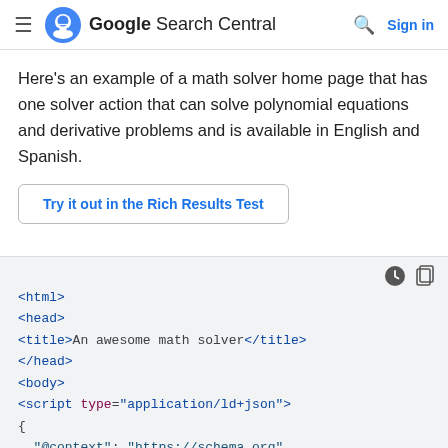Google Search Central  Sign in
Here's an example of a math solver home page that has one solver action that can solve polynomial equations and derivative problems and is available in English and Spanish.
Try it out in the Rich Results Test
[Figure (screenshot): Code block showing HTML structure with html, head, title, body, and script tags for LD+JSON with @context and @type fields for MathSolver and LearningResource]